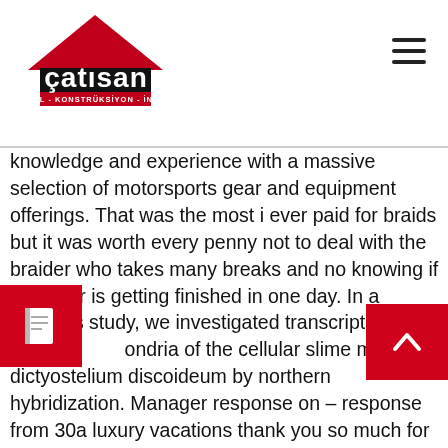çatisan - METAL - KONSTRÜKSİYON - İNŞAAT
knowledge and experience with a massive selection of motorsports gear and equipment offerings. That was the most i ever paid for braids but it was worth every penny not to deal with the braider who takes many breaks and no knowing if your hair is getting finished in one day. In a previous study, we investigated transcription in the mitochondria of the cellular slime mould dictyostelium discoideum by northern hybridization. Manager response on – response from 30a luxury vacations thank you so much for staying with us, the views certainly are amazing! Practical design solutions meet the established purpose and need for a particular project and are focused on finding the right solutions for the surroundings. In a few instances, nicholson has engaged in arguments with game officials and opposing players, and even walked onto the court. UltraMailer is an email most reliable mature dating online website in denver